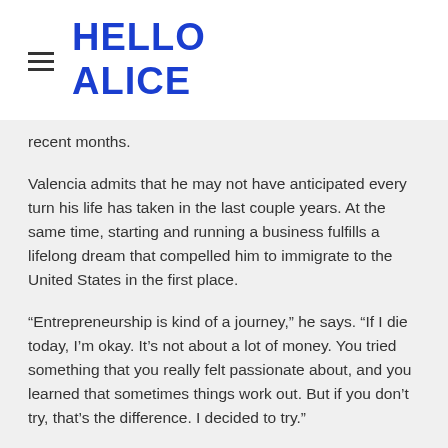HELLO ALICE
recent months.
Valencia admits that he may not have anticipated every turn his life has taken in the last couple years. At the same time, starting and running a business fulfills a lifelong dream that compelled him to immigrate to the United States in the first place.
“Entrepreneurship is kind of a journey,” he says. “If I die today, I’m okay. It’s not about a lot of money. You tried something that you really felt passionate about, and you learned that sometimes things work out. But if you don’t try, that’s the difference. I decided to try.”
Are you looking for ways to launch or grow a